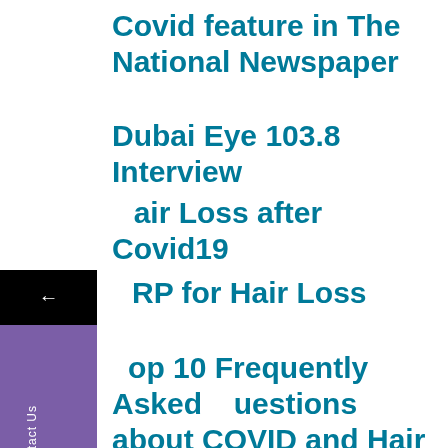Covid feature in The National Newspaper
Dubai Eye 103.8 Interview
Hair Loss after Covid19
PRP for Hair Loss
Top 10 Frequently Asked Questions about COVID and Hair Loss
ARCHIVES